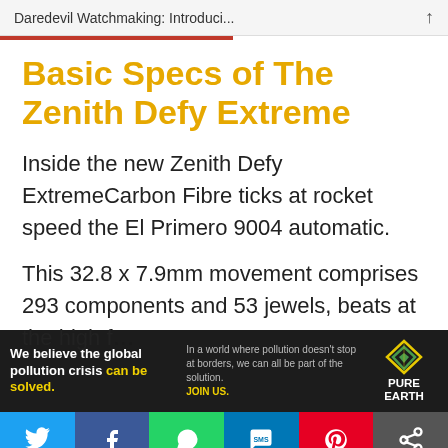Daredevil Watchmaking: Introduci...
Basic Specs of The Zenith Defy Extreme
Inside the new Zenith Defy ExtremeCarbon Fibre ticks at rocket speed the El Primero 9004 automatic.
This 32.8 x 7.9mm movement comprises 293 components and 53 jewels, beats at the high f...
[Figure (other): Pure Earth advertisement banner: 'We believe the global pollution crisis can be solved. In a world where pollution doesn't stop at borders, we can all be part of the solution. JOIN US.' with Pure Earth logo.]
[Figure (other): Social sharing bar with Twitter, Facebook, WhatsApp, SMS, Pinterest, and more icons.]